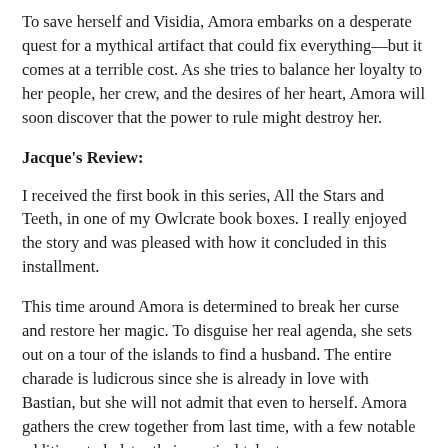To save herself and Visidia, Amora embarks on a desperate quest for a mythical artifact that could fix everything—but it comes at a terrible cost. As she tries to balance her loyalty to her people, her crew, and the desires of her heart, Amora will soon discover that the power to rule might destroy her.
Jacque's Review:
I received the first book in this series, All the Stars and Teeth, in one of my Owlcrate book boxes. I really enjoyed the story and was pleased with how it concluded in this installment.
This time around Amora is determined to break her curse and restore her magic. To disguise her real agenda, she sets out on a tour of the islands to find a husband. The entire charade is ludicrous since she is already in love with Bastian, but she will not admit that even to herself. Amora gathers the crew together from last time, with a few notable additions to bolster their magical talents.
For the majority of the book Amora is haunted by the death of her father, even though he was far from the type of leader she hopes to be. She is very naive and falls victim to a couple of attacks from her subjects that no longer